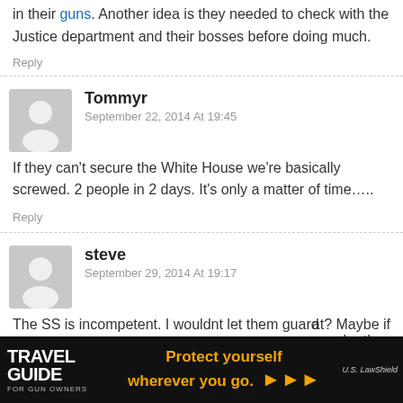in their guns. Another idea is they needed to check with the Justice department and their bosses before doing much.
Reply
Tommyr
September 22, 2014 At 19:45
If they can't secure the White House we're basically screwed. 2 people in 2 days. It's only a matter of time…..
Reply
steve
September 29, 2014 At 19:17
The SS is incompetent. I wouldnt let them guard
at? Maybe if
aybe they
[Figure (infographic): Travel Guide for Gun Owners advertisement banner with text 'Protect yourself wherever you go.' and arrow symbols, US LawShield logo]